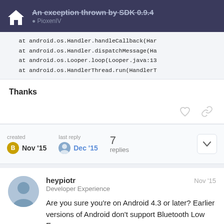An exception thrown by SDK 0.9.4
at android.os.Handler.handleCallback(Har
    at android.os.Handler.dispatchMessage(Ha
    at android.os.Looper.loop(Looper.java:13
    at android.os.HandlerThread.run(HandlerT
Thanks
created Nov '15   last reply Dec '15   7 replies
heypiotr
Developer Experience
Nov '15
Are you sure you're on Android 4.3 or later? Earlier versions of Android don't support Bluetooth Low Energy.